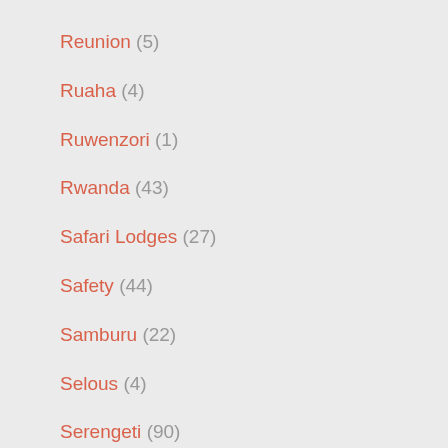Reunion (5)
Ruaha (4)
Ruwenzori (1)
Rwanda (43)
Safari Lodges (27)
Safety (44)
Samburu (22)
Selous (4)
Serengeti (90)
Seychelles (4)
Somalia (44)